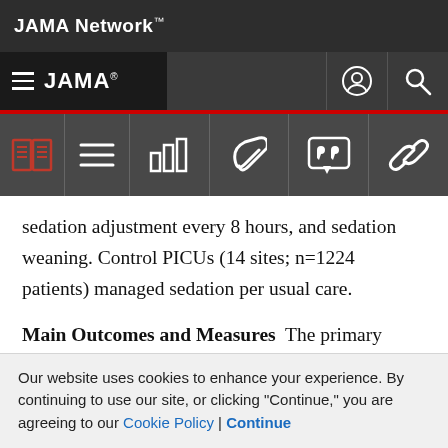JAMA Network
JAMA
sedation adjustment every 8 hours, and sedation weaning. Control PICUs (14 sites; n=1224 patients) managed sedation per usual care.
Main Outcomes and Measures  The primary outcome was duration of mechanical ventilation. Secondary outcomes included time to recovery from acute respiratory failure, duration of weaning from mechanical ventilation, neurological testing, PICU and hospital lengths of stay, in-
Our website uses cookies to enhance your experience. By continuing to use our site, or clicking "Continue," you are agreeing to our Cookie Policy | Continue